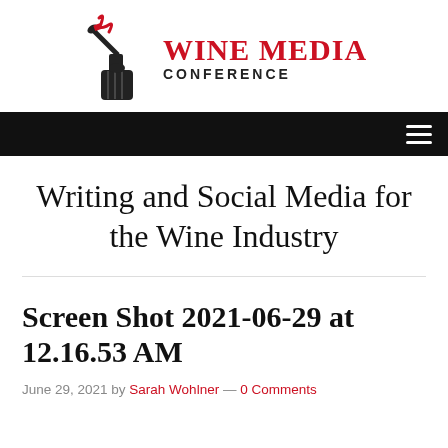[Figure (logo): Wine Media Conference logo: a stylized black wine bottle/corkscrew figure with a red corkscrew top, beside red bold text 'WINE MEDIA' and black uppercase 'CONFERENCE']
Navigation bar with hamburger menu icon
Writing and Social Media for the Wine Industry
Screen Shot 2021-06-29 at 12.16.53 AM
June 29, 2021 by Sarah Wohlner — 0 Comments